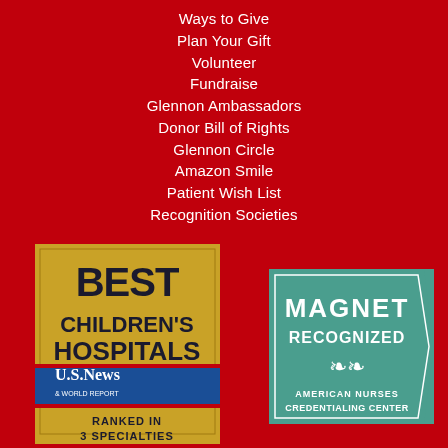Ways to Give
Plan Your Gift
Volunteer
Fundraise
Glennon Ambassadors
Donor Bill of Rights
Glennon Circle
Amazon Smile
Patient Wish List
Recognition Societies
[Figure (logo): U.S. News & World Report Best Children's Hospitals badge, Ranked in 3 Specialties 2022-23]
[Figure (logo): Magnet Recognized - American Nurses Credentialing Center badge]